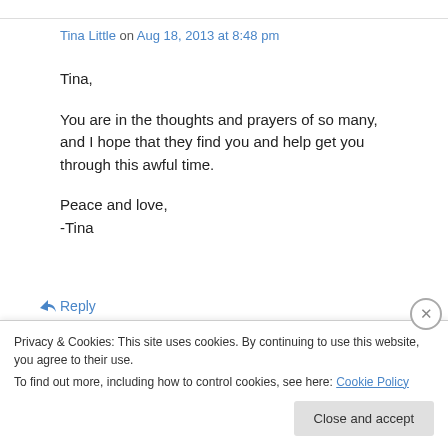Tina Little on Aug 18, 2013 at 8:48 pm
Tina,

You are in the thoughts and prayers of so many, and I hope that they find you and help get you through this awful time.

Peace and love,
-Tina
↵ Reply
Privacy & Cookies: This site uses cookies. By continuing to use this website, you agree to their use.
To find out more, including how to control cookies, see here: Cookie Policy
Close and accept